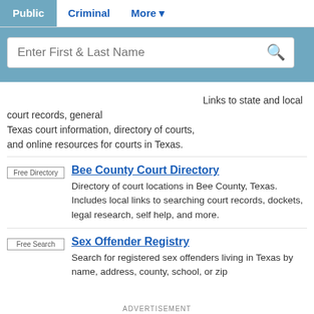Public | Criminal | More
Enter First & Last Name
Links to state and local court records, general Texas court information, directory of courts, and online resources for courts in Texas.
Free Directory — Bee County Court Directory — Directory of court locations in Bee County, Texas. Includes local links to searching court records, dockets, legal research, self help, and more.
Free Search — Sex Offender Registry — Search for registered sex offenders living in Texas by name, address, county, school, or zip
ADVERTISEMENT